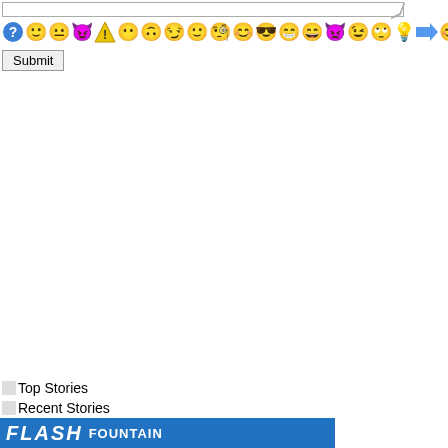[Figure (screenshot): A textarea input box with a resize handle at the bottom right corner]
[Figure (screenshot): A row of emoji/emoticon icons including question mark, smiley faces, devil, exclamation, various expressions, sunglasses, star, arrow, and green smiley]
Submit
Top Stories
Recent Stories
[Figure (screenshot): Flash Fountain banner with blue background and italic bold white text reading FLASH FOUNTAIN]